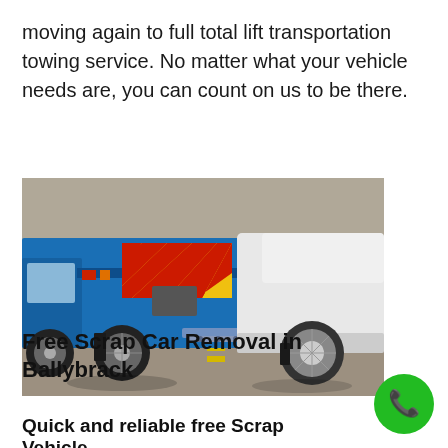moving again to full total lift transportation towing service. No matter what your vehicle needs are, you can count on us to be there.
[Figure (photo): A blue tow truck with red and yellow chevron warning markings loading a white car onto its flatbed ramp, photographed at close range on a road.]
Free Scrap Car Removal in Ballybrack
Quick and reliable free Scrap Vehicle